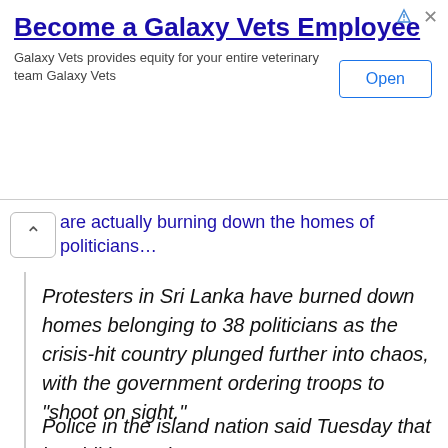[Figure (other): Advertisement banner for Galaxy Vets Employee recruitment with an Open button]
are actually burning down the homes of politicians...
Protesters in Sri Lanka have burned down homes belonging to 38 politicians as the crisis-hit country plunged further into chaos, with the government ordering troops to “shoot on sight.”
Police in the island nation said Tuesday that in addition to the